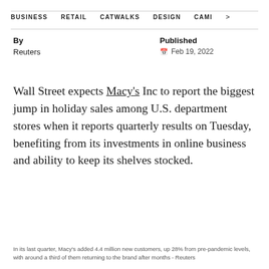BUSINESS   RETAIL   CATWALKS   DESIGN   CAMI  >
By
Reuters
Published
Feb 19, 2022
Wall Street expects Macy's Inc to report the biggest jump in holiday sales among U.S. department stores when it reports quarterly results on Tuesday, benefiting from its investments in online business and ability to keep its shelves stocked.
In its last quarter, Macy's added 4.4 million new customers, up 28% from pre-pandemic levels, with around a third of them returning to the brand after months - Reuters